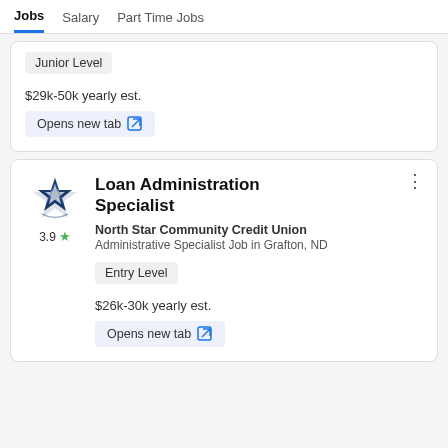Jobs   Salary   Part Time Jobs
Junior Level
$29k-50k yearly est.
Opens new tab
Loan Administration Specialist
North Star Community Credit Union
Administrative Specialist Job in Grafton, ND
Entry Level
$26k-30k yearly est.
Opens new tab